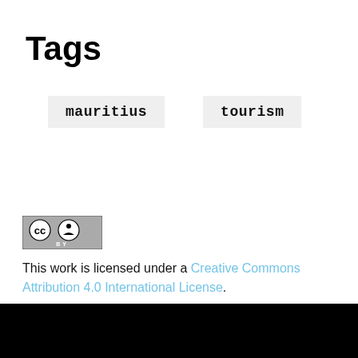Tags
mauritius
tourism
[Figure (logo): Creative Commons BY license badge — CC circle logo with person icon and 'BY' text below, on grey background with black border]
This work is licensed under a Creative Commons Attribution 4.0 International License.